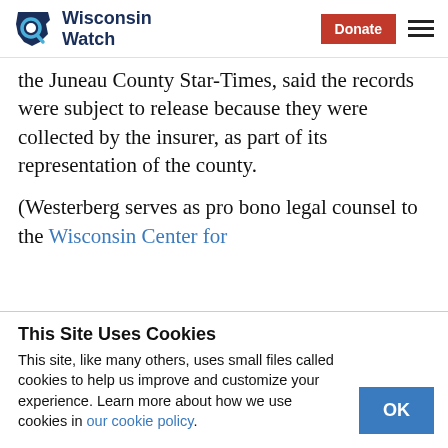Wisconsin Watch | Donate
the Juneau County Star-Times, said the records were subject to release because they were collected by the insurer, as part of its representation of the county.
(Westerberg serves as pro bono legal counsel to the Wisconsin Center for
This Site Uses Cookies
This site, like many others, uses small files called cookies to help us improve and customize your experience. Learn more about how we use cookies in our cookie policy.